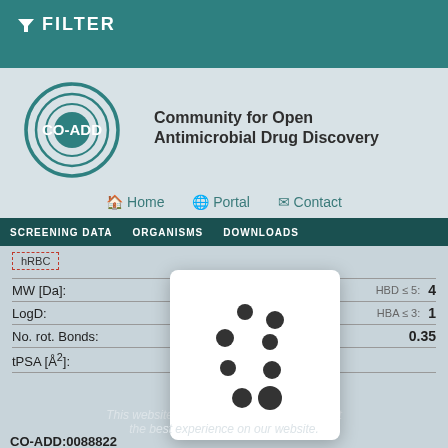FILTER
[Figure (logo): CO-ADD logo with circular graphic and text: Community for Open Antimicrobial Drug Discovery]
Home   Portal   Contact
SCREENING DATA   ORGANISMS   DOWNLOADS
hRBC
| Property | Value |
| --- | --- |
| MW [Da]: | 4 |
| LogD: | 1 |
| No. rot. Bonds: | 0.35 |
| tPSA [Å²]: |  |
[Figure (illustration): Dice/loading spinner overlay showing dots on white rounded rectangle]
This website uses cookies to ensure you get
the best experience on our website.
CO-ADD:0088822
MMV1580483
AZD-0156
MMV (CH) - Pandemic Response Box
Got it!
[Figure (illustration): Chemical structure of compound MMV1580483 / AZD-0156, showing molecular diagram with oxygen, nitrogen atoms]